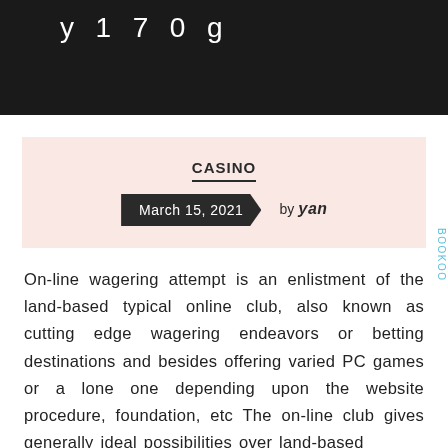y 1 7 0 g
CASINO
March 15, 2021  by yan
On-line wagering attempt is an enlistment of the land-based typical online club, also known as cutting edge wagering endeavors or betting destinations and besides offering varied PC games or a lone one depending upon the website procedure, foundation, etc The on-line club gives generally ideal possibilities over land-based